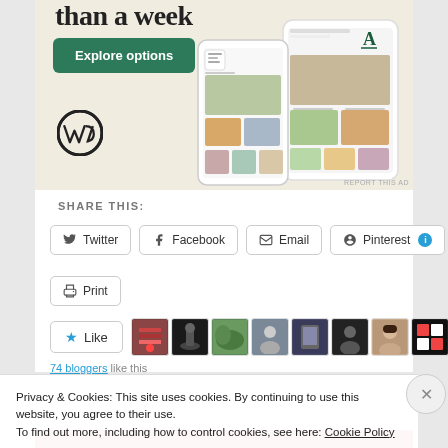[Figure (screenshot): WordPress website builder advertisement showing 'than a week' heading, 'Explore options' green button, WordPress logo, phone mockups with food blog content, and 'REPORT THIS AD' link.]
SHARE THIS:
Twitter
Facebook
Email
Pinterest
Print
Like
[Figure (photo): Strip of 9 blogger avatar photos]
74 bloggers like this
Privacy & Cookies: This site uses cookies. By continuing to use this website, you agree to their use.
To find out more, including how to control cookies, see here: Cookie Policy
Close and accept